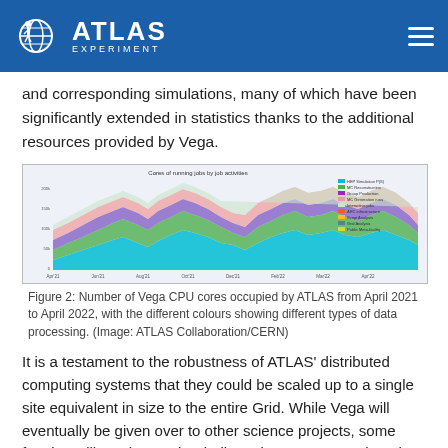ATLAS EXPERIMENT
and corresponding simulations, many of which have been significantly extended in statistics thanks to the additional resources provided by Vega.
[Figure (area-chart): Stacked area chart showing Number of Vega CPU cores occupied by ATLAS from April 2021 to April 2022, with different colours representing different types of data processing including HEP simulation, MC Reconstruction, Group Production, MC Generation runs, Interactive jobs, ARC infrastructure, Script Analysis, Grid Analysis, Public Meta-facility.]
Figure 2: Number of Vega CPU cores occupied by ATLAS from April 2021 to April 2022, with the different colours showing different types of data processing. (Image: ATLAS Collaboration/CERN)
It is a testament to the robustness of ATLAS' distributed computing systems that they could be scaled up to a single site equivalent in size to the entire Grid. While Vega will eventually be given over to other science projects, some fraction will continue to be dedicated to ATLAS. Further, the successful experience shows that ATLAS members (and their data) are ready to jump on the next available HPC